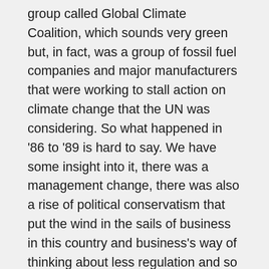group called Global Climate Coalition, which sounds very green but, in fact, was a group of fossil fuel companies and major manufacturers that were working to stall action on climate change that the UN was considering. So what happened in '86 to '89 is hard to say. We have some insight into it, there was a management change, there was also a rise of political conservatism that put the wind in the sails of business in this country and business's way of thinking about less regulation and so on. The interesting thing about Lee Raymond is that Mr. Raymond joined the Exxon board in 1984. He became a senior vice president then. In the 1980s, Exxon was looking at this massive gas field in the South China Sea called Natuna and the gas field was delayed over and over again because it was this weird formation where